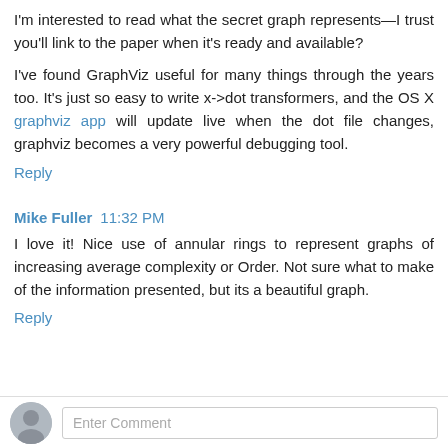I'm interested to read what the secret graph represents—I trust you'll link to the paper when it's ready and available?
I've found GraphViz useful for many things through the years too. It's just so easy to write x->dot transformers, and the OS X graphviz app will update live when the dot file changes, graphviz becomes a very powerful debugging tool.
Reply
Mike Fuller  11:32 PM
I love it! Nice use of annular rings to represent graphs of increasing average complexity or Order. Not sure what to make of the information presented, but its a beautiful graph.
Reply
Enter Comment